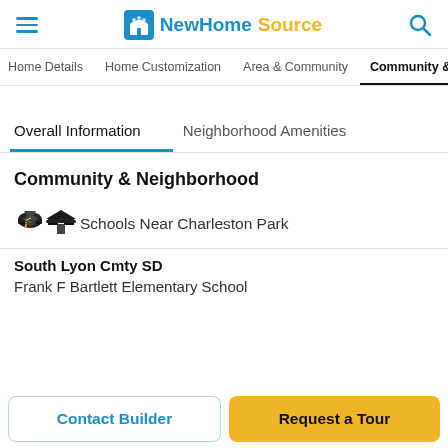NewHomeSource
Home Details  Home Customization  Area & Community  Community &
Overall Information  Neighborhood Amenities
Community & Neighborhood
Schools Near Charleston Park
South Lyon Cmty SD
Frank F Bartlett Elementary School
Contact Builder
Request a Tour